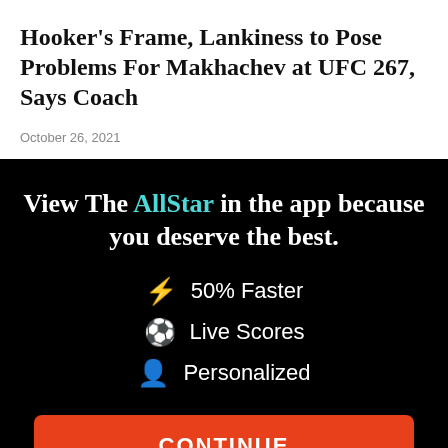Hooker's Frame, Lankiness to Pose Problems For Makhachev at UFC 267, Says Coach
October 26, 2021
[Figure (infographic): Black background promotional banner for The AllStar app with headline 'View The AllStar in the app because you deserve the best.' followed by three feature bullets: lightning bolt icon '50% Faster', soccer ball icon 'Live Scores', person icon 'Personalized', a red CONTINUE button, and 'or go to the mobile site' link.]